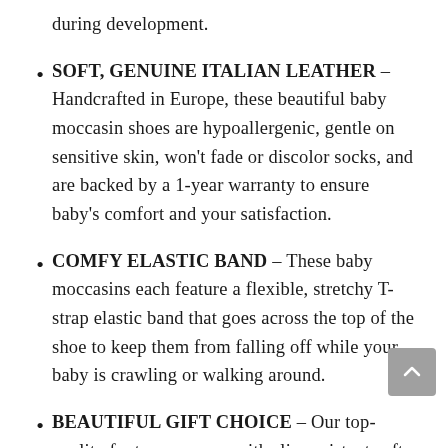during development.
SOFT, GENUINE ITALIAN LEATHER – Handcrafted in Europe, these beautiful baby moccasin shoes are hypoallergenic, gentle on sensitive skin, won't fade or discolor socks, and are backed by a 1-year warranty to ensure baby's comfort and your satisfaction.
COMFY ELASTIC BAND – These baby moccasins each feature a flexible, stretchy T-strap elastic band that goes across the top of the shoe to keep them from falling off while your baby is crawling or walking around.
BEAUTIFUL GIFT CHOICE – Our top-quality footwear comes with slip-resistant soft soles, in sizes to fit newborns to 3